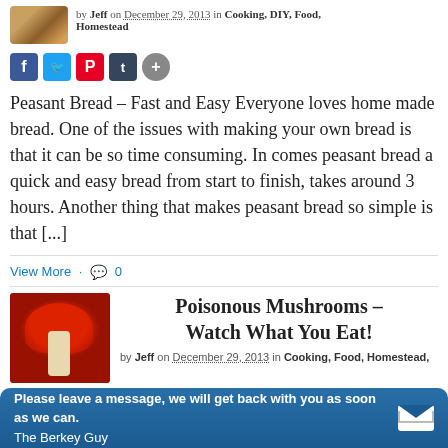[Figure (photo): Thumbnail photo of a round bread loaf with golden-brown crust]
by Jeff on December 29, 2013 in Cooking, DIY, Food, Homestead
[Figure (infographic): Social media share buttons: Facebook, Twitter, Pinterest, Tumblr, and a share plus button]
Peasant Bread – Fast and Easy Everyone loves home made bread. One of the issues with making your own bread is that it can be so time consuming. In comes peasant bread a quick and easy bread from start to finish, takes around 3 hours. Another thing that makes peasant bread so simple is that [...]
View More · 💬 0
[Figure (photo): Thumbnail photo of red poisonous mushrooms (Amanita muscaria) with white spots on a mossy background]
Poisonous Mushrooms – Watch What You Eat!
by Jeff on December 29, 2013 in Cooking, Food, Homestead,
Please leave a message, we will get back with you as soon as we can. The Berkey Guy